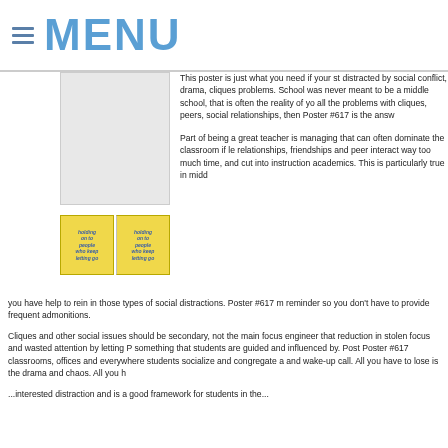≡ MENU
[Figure (photo): Placeholder image of a classroom poster]
[Figure (illustration): Two small thumbnail images of Poster #617 with yellow background and blue text reading 'holding on to people who keep letting go']
This poster is just what you need if your st... distracted by social conflict, drama, cliques... problems. School was never meant to be a... middle school, that is often the reality of yo... all the problems with cliques, peers, social... relationships, then Poster #617 is the answ...
Part of being a great teacher is managing... that can often dominate the classroom if le... relationships, friendships and peer interact... way too much time, and cut into instruction... academics. This is particularly true in midd... you have help to rein in those types of social distractions. Poster #617 m... reminder so you don't have to provide frequent admonitions.
Cliques and other social issues should be secondary, not the main focus... engineer that reduction in stolen focus and wasted attention by letting P... something that students are guided and influenced by. Post Poster #617... classrooms, offices and everywhere students socialize and congregate a... and wake-up call. All you have to lose is the drama and chaos. All you h... ...interested distraction and is a good framework for students in the...